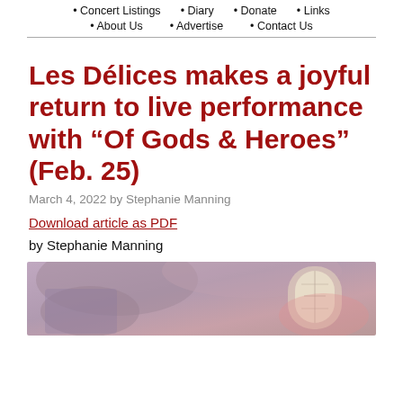• Concert Listings  • Diary  • Donate  • Links  • About Us  • Advertise  • Contact Us
Les Délices makes a joyful return to live performance with “Of Gods & Heroes” (Feb. 25)
March 4, 2022 by Stephanie Manning
Download article as PDF
by Stephanie Manning
[Figure (photo): Interior architectural photo showing arched windows and ceiling of what appears to be a church or concert hall, with warm reddish-purple lighting.]